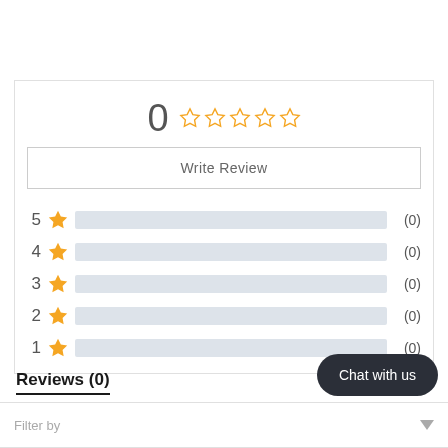[Figure (other): Rating summary widget showing 0 out of 5 stars with 5 empty star outlines, a Write Review button, and 5 rating bar rows (5-star through 1-star) all showing 0 reviews each]
Reviews (0)
Filter by
[Figure (other): Dark rounded pill-shaped chat button labeled 'Chat with us']